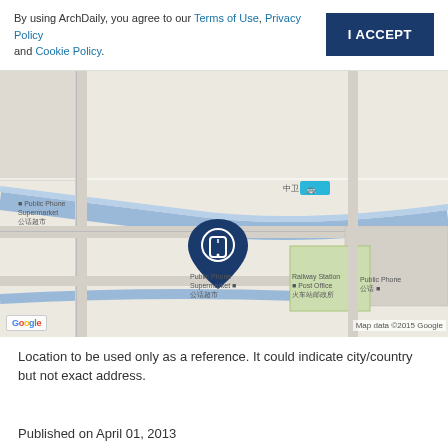By using ArchDaily, you agree to our Terms of Use, Privacy Policy and Cookie Policy.
[Figure (map): Google Maps screenshot showing a location in China near a Railway Station, with streets, a blue river/road, and a dark blue map pin with an ArchDaily icon. Labels include: Public Phone Supermarket, 公话超市, Railway Station Post Office, 火车站邮政所, Public Phone 公话, 中卫 with bus icon. Google logo and Map data ©2015 Google attribution.]
Location to be used only as a reference. It could indicate city/country but not exact address.
Published on April 01, 2013